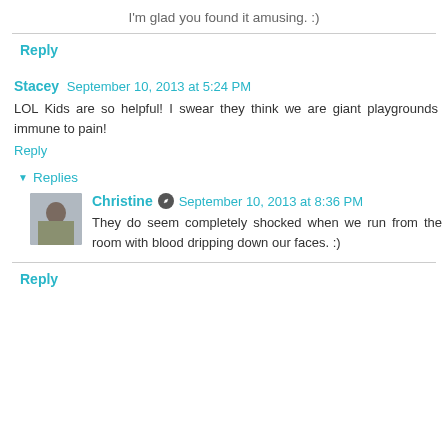I'm glad you found it amusing. :)
Reply
Stacey  September 10, 2013 at 5:24 PM
LOL Kids are so helpful! I swear they think we are giant playgrounds immune to pain!
Reply
Replies
Christine  September 10, 2013 at 8:36 PM
They do seem completely shocked when we run from the room with blood dripping down our faces. :)
Reply